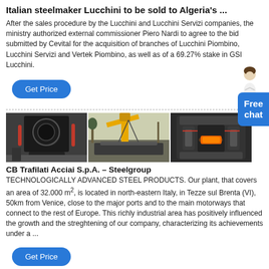Italian steelmaker Lucchini to be sold to Algeria's ...
After the sales procedure by the Lucchini and Lucchini Servizi companies, the ministry authorized external commissioner Piero Nardi to agree to the bid submitted by Cevital for the acquisition of branches of Lucchini Piombino, Lucchini Servizi and Vertek Piombino, as well as of a 69.27% stake in GSI Lucchini.
[Figure (other): Get Price button (blue rounded button)]
[Figure (photo): Three industrial steel plant photos side by side: left shows a large industrial grinding/milling machine in a factory; center shows a yellow crane with industrial equipment outdoors; right shows a large industrial press or furnace machine with glowing orange element.]
CB Trafilati Acciai S.p.A. – Steelgroup
TECHNOLOGICALLY ADVANCED STEEL PRODUCTS. Our plant, that covers an area of 32.000 m², is located in north-eastern Italy, in Tezze sul Brenta (VI), 50km from Venice, close to the major ports and to the main motorways that connect to the rest of Europe. This richly industrial area has positively influenced the growth and the streghtening of our company, characterizing its achievements under a ...
[Figure (other): Get Price button (blue rounded button)]